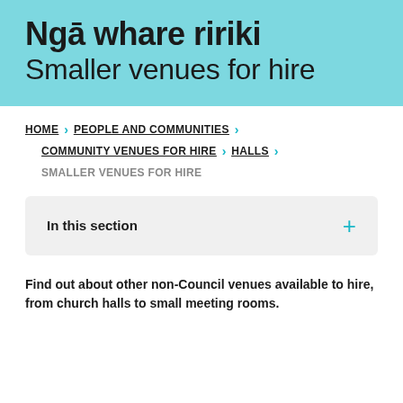Ngā whare ririki
Smaller venues for hire
HOME > PEOPLE AND COMMUNITIES > COMMUNITY VENUES FOR HIRE > HALLS > SMALLER VENUES FOR HIRE
In this section
Find out about other non-Council venues available to hire, from church halls to small meeting rooms.